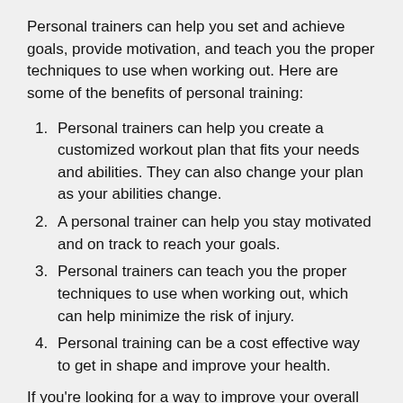Personal trainers can help you set and achieve goals, provide motivation, and teach you the proper techniques to use when working out. Here are some of the benefits of personal training:
Personal trainers can help you create a customized workout plan that fits your needs and abilities. They can also change your plan as your abilities change.
A personal trainer can help you stay motivated and on track to reach your goals.
Personal trainers can teach you the proper techniques to use when working out, which can help minimize the risk of injury.
Personal training can be a cost effective way to get in shape and improve your health.
If you're looking for a way to improve your overall health and fitness, personal training might be the answer. Personal trainers can help you set and achieve fitness goals, provide guidance and support, and teach you how to use equipment